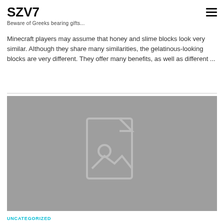SZV7
Beware of Greeks bearing gifts...
Minecraft players may assume that honey and slime blocks look very similar. Although they share many similarities, the gelatinous-looking blocks are very different. They offer many benefits, as well as different ...
[Figure (photo): Gray placeholder image with a document/image icon in the center]
UNCATEGORIZED